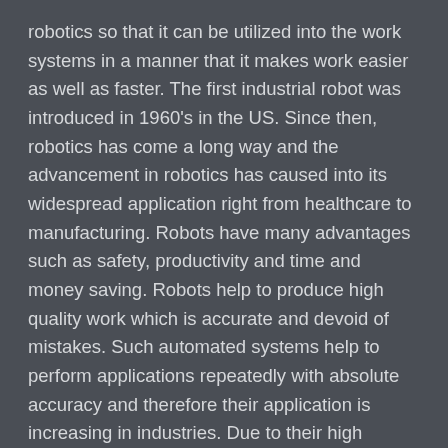robotics so that it can be utilized into the work systems in a manner that it makes work easier as well as faster. The first industrial robot was introduced in 1960's in the US. Since then, robotics has come a long way and the advancement in robotics has caused into its widespread application right from healthcare to manufacturing. Robots have many advantages such as safety, productivity and time and money saving. Robots help to produce high quality work which is accurate and devoid of mistakes. Such automated systems help to perform applications repeatedly with absolute accuracy and therefore their application is increasing in industries. Due to their high demand, studying robotics and researching in this field is advisable as it will provide better employment opportunities to students.
OPPORTUNITIES FOR ROBOTICS STUDENTS